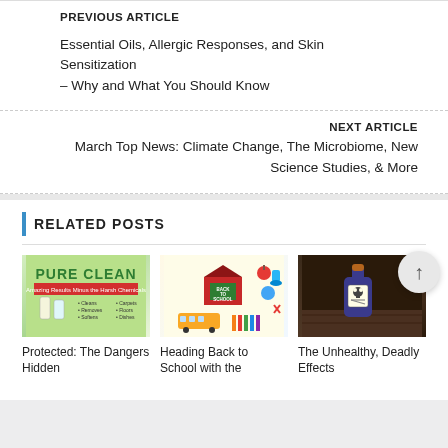PREVIOUS ARTICLE
Essential Oils, Allergic Responses, and Skin Sensitization – Why and What You Should Know
NEXT ARTICLE
March Top News: Climate Change, The Microbiome, New Science Studies, & More
RELATED POSTS
[Figure (photo): Pure Clean product advertisement thumbnail]
Protected: The Dangers Hidden
[Figure (illustration): Back to school colorful illustration with school supplies and bus]
Heading Back to School with the
[Figure (photo): Dark blue poison bottle with skull label on wooden surface]
The Unhealthy, Deadly Effects